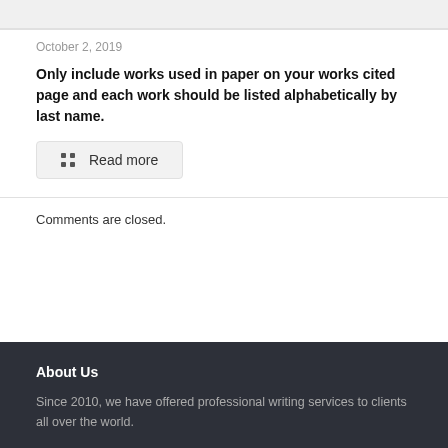October 2, 2019
Only include works used in paper on your works cited page and each work should be listed alphabetically by last name.
Read more
Comments are closed.
About Us
Since 2010, we have offered professional writing services to clients all over the world.